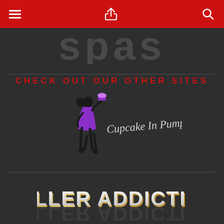Navigation bar with menu, share, and search icons
[Figure (logo): Partial background text 'spas' in large gray letters]
CHECK OUT OUR OTHER SITES
[Figure (logo): Cupcake In Pumps logo — silhouette of a woman in purple dress holding a cupcake, with cursive text 'Cupcake In Pumps']
[Figure (logo): Seller Addiction logo in bold blocky font with gold/brown and white striped text effect]